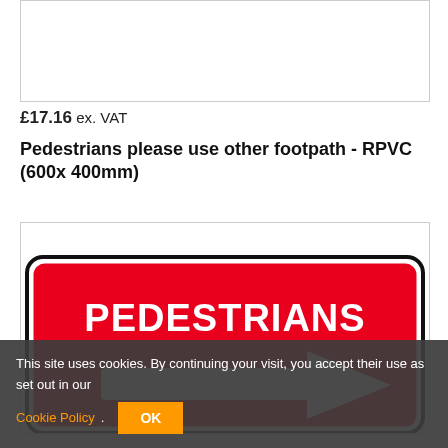[Figure (photo): Top partial product image placeholder (white box with border)]
£17.16 ex. VAT
Pedestrians please use other footpath - RPVC (600x 400mm)
[Figure (photo): Red sign reading PEDESTRIANS with a white right-pointing arrow on red background]
This site uses cookies. By continuing your visit, you accept their use as set out in our Cookie Policy.